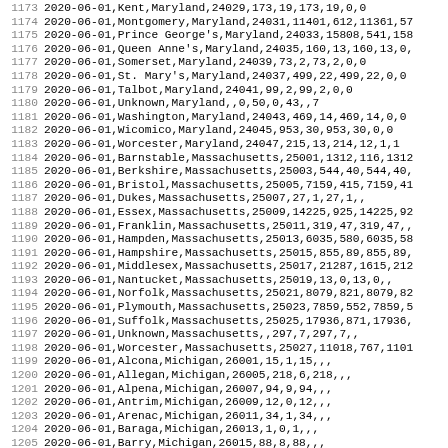| 1173 | 2020-06-01,Kent,Maryland,24029,173,19,173,19,0,0 |
| 1174 | 2020-06-01,Montgomery,Maryland,24031,11401,612,11361,57 |
| 1175 | 2020-06-01,Prince George's,Maryland,24033,15808,541,158 |
| 1176 | 2020-06-01,Queen Anne's,Maryland,24035,160,13,160,13,0, |
| 1177 | 2020-06-01,Somerset,Maryland,24039,73,2,73,2,0,0 |
| 1178 | 2020-06-01,St. Mary's,Maryland,24037,499,22,499,22,0,0 |
| 1179 | 2020-06-01,Talbot,Maryland,24041,99,2,99,2,0,0 |
| 1180 | 2020-06-01,Unknown,Maryland,,0,50,0,43,,7 |
| 1181 | 2020-06-01,Washington,Maryland,24043,469,14,469,14,0,0 |
| 1182 | 2020-06-01,Wicomico,Maryland,24045,953,30,953,30,0,0 |
| 1183 | 2020-06-01,Worcester,Maryland,24047,215,13,214,12,1,1 |
| 1184 | 2020-06-01,Barnstable,Massachusetts,25001,1312,116,1312 |
| 1185 | 2020-06-01,Berkshire,Massachusetts,25003,544,40,544,40, |
| 1186 | 2020-06-01,Bristol,Massachusetts,25005,7159,415,7159,41 |
| 1187 | 2020-06-01,Dukes,Massachusetts,25007,27,1,27,1,, |
| 1188 | 2020-06-01,Essex,Massachusetts,25009,14225,925,14225,92 |
| 1189 | 2020-06-01,Franklin,Massachusetts,25011,319,47,319,47,, |
| 1190 | 2020-06-01,Hampden,Massachusetts,25013,6035,580,6035,58 |
| 1191 | 2020-06-01,Hampshire,Massachusetts,25015,855,89,855,89, |
| 1192 | 2020-06-01,Middlesex,Massachusetts,25017,21287,1615,212 |
| 1193 | 2020-06-01,Nantucket,Massachusetts,25019,13,0,13,0,, |
| 1194 | 2020-06-01,Norfolk,Massachusetts,25021,8079,821,8079,82 |
| 1195 | 2020-06-01,Plymouth,Massachusetts,25023,7859,552,7859,5 |
| 1196 | 2020-06-01,Suffolk,Massachusetts,25025,17936,871,17936, |
| 1197 | 2020-06-01,Unknown,Massachusetts,,297,7,297,7,, |
| 1198 | 2020-06-01,Worcester,Massachusetts,25027,11018,767,1101 |
| 1199 | 2020-06-01,Alcona,Michigan,26001,15,1,15,,, |
| 1200 | 2020-06-01,Allegan,Michigan,26005,218,6,218,,, |
| 1201 | 2020-06-01,Alpena,Michigan,26007,94,9,94,,, |
| 1202 | 2020-06-01,Antrim,Michigan,26009,12,0,12,,, |
| 1203 | 2020-06-01,Arenac,Michigan,26011,34,1,34,,, |
| 1204 | 2020-06-01,Baraga,Michigan,26013,1,0,1,,, |
| 1205 | 2020-06-01,Barry,Michigan,26015,88,8,88,,, |